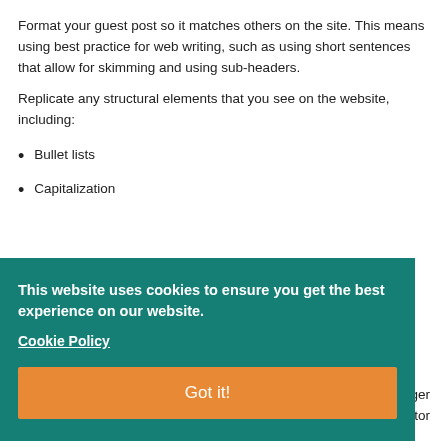Format your guest post so it matches others on the site. This means using best practice for web writing, such as using short sentences that allow for skimming and using sub-headers.
Replicate any structural elements that you see on the website, including:
Bullet lists
Capitalization
[Figure (screenshot): Cookie consent banner with teal background reading 'This website uses cookies to ensure you get the best experience on our website.' with a Cookie Policy link and orange 'Got it!' button]
ogger
editor
to increase readability: